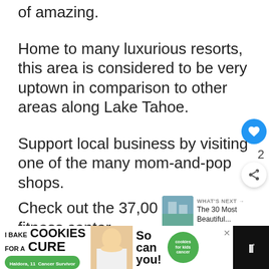of amazing.
Home to many luxurious resorts, this area is considered to be very uptown in comparison to other areas along Lake Tahoe.
Support local business by visiting one of the many mom-and-pop shops.
Check out the 37,00 square foot fitness center.
[Figure (other): Advertisement banner: I Bake COOKIES For A CURE - So can you! cookies for kids cancer]
[Figure (other): What's Next panel showing: The 30 Most Beautiful...]